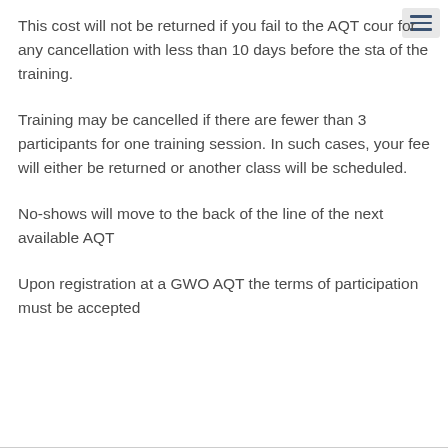This cost will not be returned if you fail to the AQT course or for any cancellation with less than 10 days before the start of the training.
Training may be cancelled if there are fewer than 3 participants for one training session. In such cases, your fee will either be returned or another class will be scheduled.
No-shows will move to the back of the line of the next available AQT
Upon registration at a GWO AQT the terms of participation must be accepted